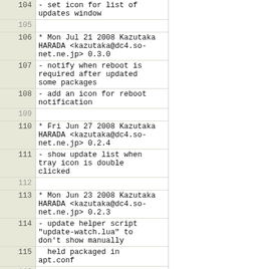Code viewer showing lines 104-119 of a changelog file with version history entries for kazutaka@dc4.so-net.ne.jp
104: - set icon for list of updates window
105: (empty)
106: * Mon Jul 21 2008 Kazutaka HARADA <kazutaka@dc4.so-net.ne.jp> 0.3.0
107: - notify when reboot is required after updated some packages
108: - add an icon for reboot notification
109: (empty)
110: * Fri Jun 27 2008 Kazutaka HARADA <kazutaka@dc4.so-net.ne.jp> 0.2.4
111: - show update list when tray icon is double clicked
112: (empty)
113: * Mon Jun 23 2008 Kazutaka HARADA <kazutaka@dc4.so-net.ne.jp> 0.2.3
114: - update helper script "update-watch.lua" to don't show manually
115:   held packaged in apt.conf
116: (empty)
117: * Fri Jun 20 2008 Kazutaka HARADA <kazutaka@dc4.so-net.ne.jp> 0.2.2
118: - fix file existence check logic
119: - use apt-get upgrade as